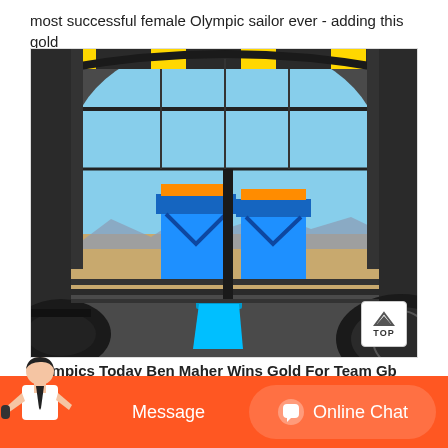most successful female Olympic sailor ever - adding this gold
[Figure (photo): Industrial facility interior showing large blue machinery/equipment (possibly ball mills or industrial rollers) inside a steel-frame building with arched roof structure and desert landscape visible through open walls. A blue bucket is visible in the foreground.]
ympics Today Ben Maher Wins Gold For Team Gb
[Figure (other): Chat bar with customer service avatar, Message button, and Online Chat button in orange]